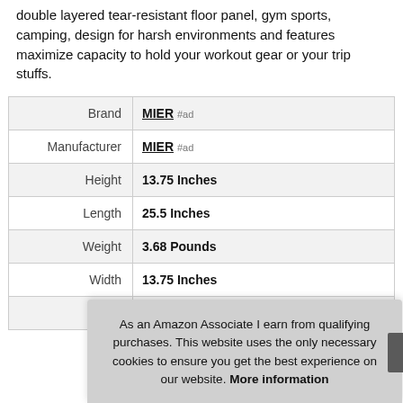double layered tear-resistant floor panel, gym sports, camping, design for harsh environments and features maximize capacity to hold your workout gear or your trip stuffs.
|  |  |
| --- | --- |
| Brand | MIER #ad |
| Manufacturer | MIER #ad |
| Height | 13.75 Inches |
| Length | 25.5 Inches |
| Weight | 3.68 Pounds |
| Width | 13.75 Inches |
| P |  |
As an Amazon Associate I earn from qualifying purchases. This website uses the only necessary cookies to ensure you get the best experience on our website. More information
More information #ad